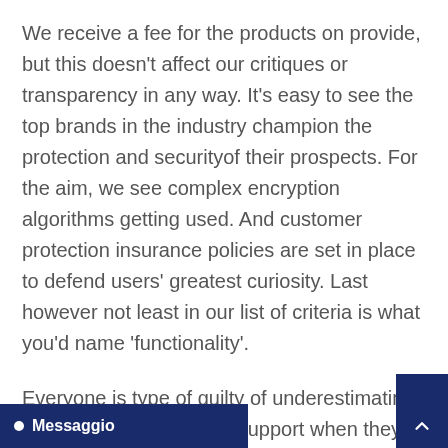We receive a fee for the products on provide, but this doesn't affect our critiques or transparency in any way. It's easy to see the top brands in the industry champion the protection and securityof their prospects. For the aim, we see complex encryption algorithms getting used. And customer protection insurance policies are set in place to defend users' greatest curiosity. Last however not least in our list of criteria is what you'd name 'functionality'.
Everyone is type of guilty of underestimating the importance of buyer support when they first type their impression of a betting web site. That's t thing that leaps off the web pag